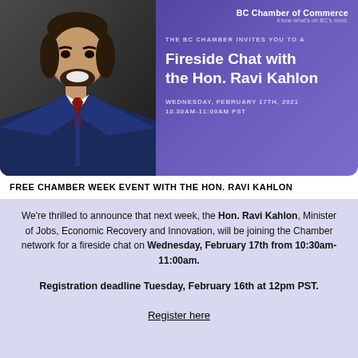[Figure (photo): Portrait photo of Hon. Ravi Kahlon in a navy blue suit with red tie, smiling, against a dark background. Right side shows purple/violet gradient background with BC Chamber of Commerce event details.]
Fireside Chat with the Hon. Ravi Kahlon
THE BC CHAMBER INVITES YOU TO A
WEDNESDAY, FEBRUARY 17th, 2021
10.30AM-11:00AM PST
FREE CHAMBER WEEK EVENT WITH THE HON. RAVI KAHLON
We're thrilled to announce that next week, the Hon. Ravi Kahlon, Minister of Jobs, Economic Recovery and Innovation, will be joining the Chamber network for a fireside chat on Wednesday, February 17th from 10:30am-11:00am.
Registration deadline Tuesday, February 16th at 12pm PST.
Register here